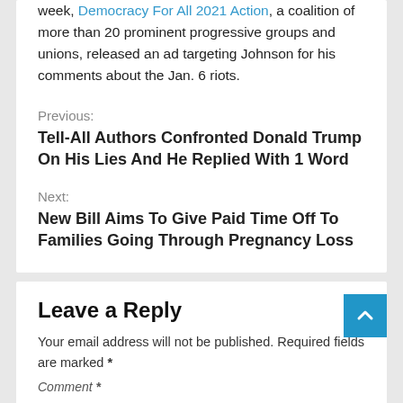week, Democracy For All 2021 Action, a coalition of more than 20 prominent progressive groups and unions, released an ad targeting Johnson for his comments about the Jan. 6 riots.
Previous:
Tell-All Authors Confronted Donald Trump On His Lies And He Replied With 1 Word
Next:
New Bill Aims To Give Paid Time Off To Families Going Through Pregnancy Loss
Leave a Reply
Your email address will not be published. Required fields are marked *
Comment *